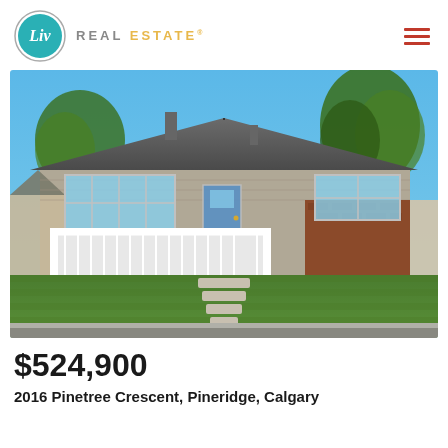[Figure (logo): Liv Real Estate logo with teal circle containing 'Liv' in white script and 'REAL ESTATE' text in grey with 'ESTATE' in gold/yellow]
[Figure (photo): Exterior photo of a bungalow-style house with grey siding and brick accents, white front deck/porch railing, large windows, green lawn with stone pathway steps leading from street to front door, trees in background, sunny day]
$524,900
2016 Pinetree Crescent, Pineridge, Calgary